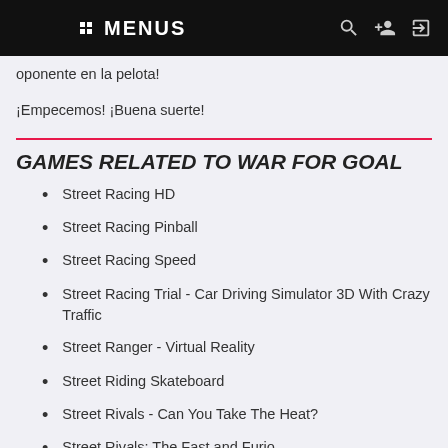:: MENUS
oponente en la pelota!
¡Empecemos! ¡Buena suerte!
GAMES RELATED TO WAR FOR GOAL
Street Racing HD
Street Racing Pinball
Street Racing Speed
Street Racing Trial - Car Driving Simulator 3D With Crazy Traffic
Street Ranger - Virtual Reality
Street Riding Skateboard
Street Rivals - Can You Take The Heat?
Street Rivals: The Fast and Furious